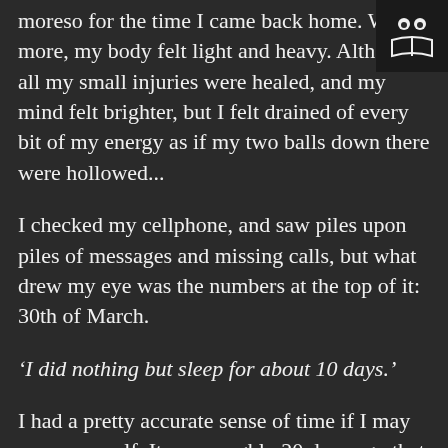[Figure (logo): Small icon in top-right corner: two circles as eyes above an open book, on a dark background]
moreso for the time I came back home. What's more, my body felt light and heavy. Although all my small injuries were healed, and my mind felt brighter, but I felt drained of every bit of my energy as if my two balls down there were hollowed...
I checked my cellphone, and saw piles upon piles of messages and missing calls, but what drew my eye was the numbers at the top of it: 30th of March.
‘I did nothing but sleep for about 10 days.’
I had a pretty accurate sense of time if I may say so myself. It was roughly 20 days ago that I